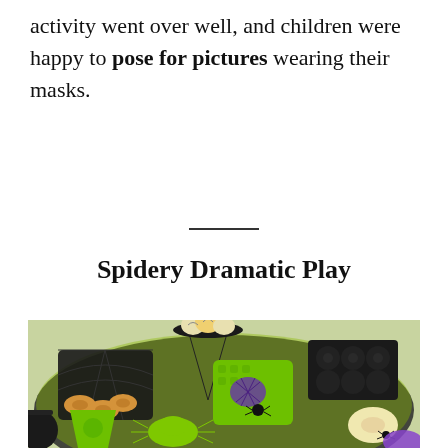activity went over well, and children were happy to pose for pictures wearing their masks.
Spidery Dramatic Play
[Figure (photo): A green round table set up with Halloween-themed dramatic play items including a spiderweb wire basket with donuts, a tiered stand with decorative pumpkins, a green plastic basket with purple and black spider decorations, a black muffin tin, green spider-shaped cutouts, a green plastic cup, and a donut on the right side, all arranged on a black lace tablecloth.]